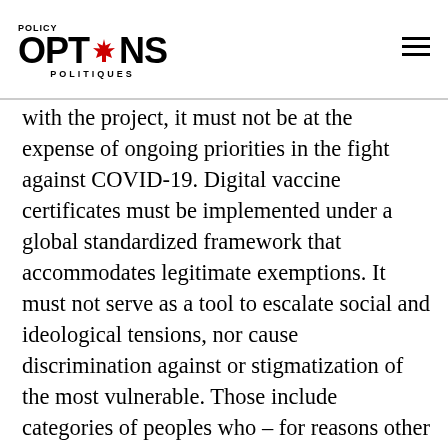POLICY OPTIONS POLITIQUES
with the project, it must not be at the expense of ongoing priorities in the fight against COVID-19. Digital vaccine certificates must be implemented under a global standardized framework that accommodates legitimate exemptions. It must not serve as a tool to escalate social and ideological tensions, nor cause discrimination against or stigmatization of the most vulnerable. Those include categories of peoples who – for reasons other than vaccine hesitancy – cannot be vaccinated. They also include travelers from the most-impoverished parts of the world